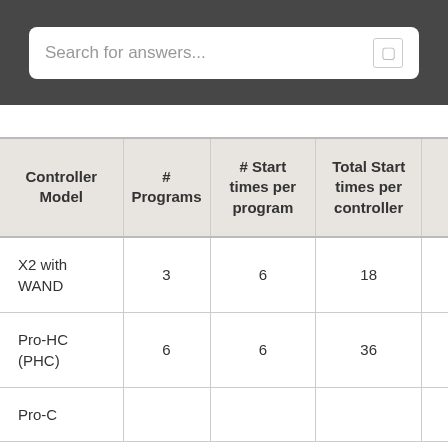Search for answers...
| Controller Model | # Programs | # Start times per program | Total Start times per controller |
| --- | --- | --- | --- |
| X2 with WAND | 3 | 6 | 18 |
| Pro-HC (PHC) | 6 | 6 | 36 |
| Pro-C |  |  |  |